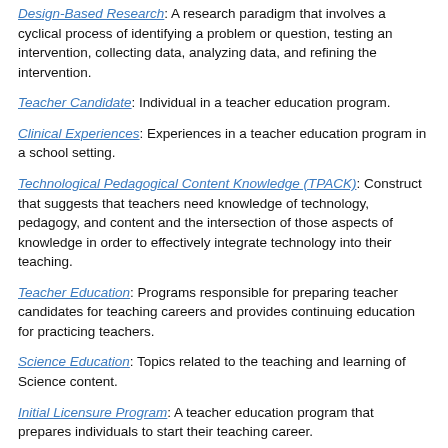Design-Based Research: A research paradigm that involves a cyclical process of identifying a problem or question, testing an intervention, collecting data, analyzing data, and refining the intervention.
Teacher Candidate: Individual in a teacher education program.
Clinical Experiences: Experiences in a teacher education program in a school setting.
Technological Pedagogical Content Knowledge (TPACK): Construct that suggests that teachers need knowledge of technology, pedagogy, and content and the intersection of those aspects of knowledge in order to effectively integrate technology into their teaching.
Teacher Education: Programs responsible for preparing teacher candidates for teaching careers and provides continuing education for practicing teachers.
Science Education: Topics related to the teaching and learning of Science content.
Initial Licensure Program: A teacher education program that prepares individuals to start their teaching career.
Social Studies Education: Topics related to the teaching and learning of Social Studies content.
Elementary Education: Topics related to teaching students in grades kindergarten through grade six.